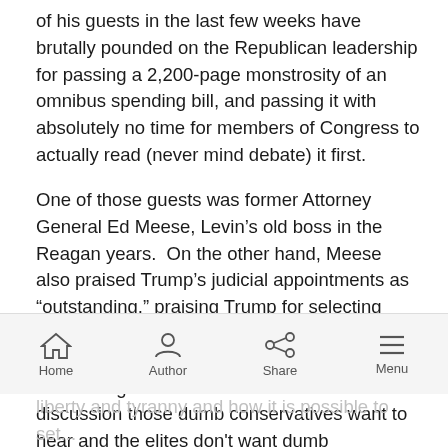of his guests in the last few weeks have brutally pounded on the Republican leadership for passing a 2,200-page monstrosity of an omnibus spending bill, and passing it with absolutely no time for members of Congress to actually read (never mind debate) it first.
One of those guests was former Attorney General Ed Meese, Levin’s old boss in the Reagan years.  On the other hand, Meese also praised Trump’s judicial appointments as “outstanding,” praising Trump for selecting judges that adhere to the Constitution as well as for consulting the Federalist Society and the Heritage Foundation.  It's the kind of discussion those dumb conservatives want to hear and the elites don't want dumb conservatives to hear.
Home  Author  Share  Menu
liberty and tyranny and how it is possible to set...